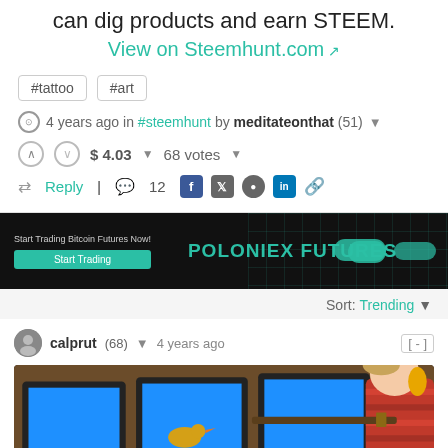can dig products and earn STEEM.
View on Steemhunt.com
#tattoo  #art
4 years ago in #steemhunt by meditateonthat (51)
$ 4.03  68 votes
Reply  12
[Figure (screenshot): Poloniex Futures advertisement banner with dark background, green grid lines and pill shapes]
Sort: Trending
calprut (68)  4 years ago  [-]
[Figure (photo): Photo of a person wearing red striped shirt and yellow ear protection, aiming a rifle at multiple monitors showing a duck hunt game]